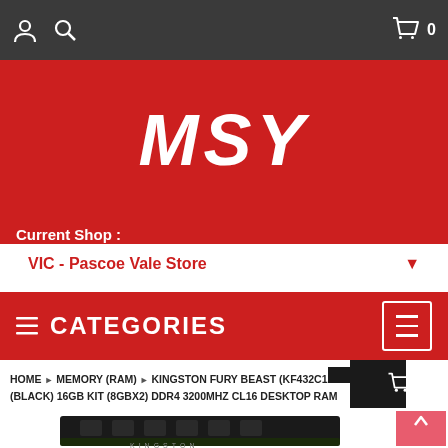MSY - Top navigation bar with user icon, search icon, and cart icon (0 items)
MSY
Current Shop :
VIC - Pascoe Vale Store
CATEGORIES
HOME > MEMORY (RAM) > KINGSTON FURY BEAST (KF432C1...) (BLACK) 16GB KIT (8GBX2) DDR4 3200MHZ CL16 DESKTOP RAM
[Figure (photo): Kingston Fury Beast black RAM module, partially visible at bottom of page]